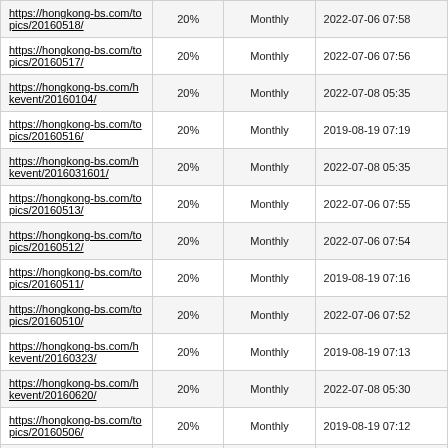| https://hongkong-bs.com/topics/20160518/ | 20% | Monthly | 2022-07-06 07:58 |
| https://hongkong-bs.com/topics/20160517/ | 20% | Monthly | 2022-07-06 07:56 |
| https://hongkong-bs.com/hkevent/20160104/ | 20% | Monthly | 2022-07-08 05:35 |
| https://hongkong-bs.com/topics/20160516/ | 20% | Monthly | 2019-08-19 07:19 |
| https://hongkong-bs.com/hkevent/2016031601/ | 20% | Monthly | 2022-07-08 05:35 |
| https://hongkong-bs.com/topics/20160513/ | 20% | Monthly | 2022-07-06 07:55 |
| https://hongkong-bs.com/topics/20160512/ | 20% | Monthly | 2022-07-06 07:54 |
| https://hongkong-bs.com/topics/20160511/ | 20% | Monthly | 2019-08-19 07:16 |
| https://hongkong-bs.com/topics/20160510/ | 20% | Monthly | 2022-07-06 07:52 |
| https://hongkong-bs.com/hkevent/20160323/ | 20% | Monthly | 2019-08-19 07:13 |
| https://hongkong-bs.com/hkevent/20160620/ | 20% | Monthly | 2022-07-08 05:30 |
| https://hongkong-bs.com/topics/20160506/ | 20% | Monthly | 2019-08-19 07:12 |
| https://hongkong-bs.com/... | 20% | Monthly |  |